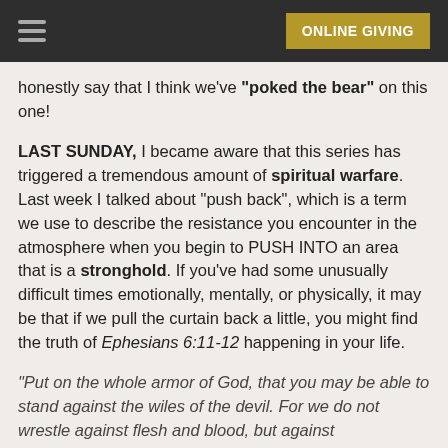ONLINE GIVING
honestly say that I think we've "poked the bear" on this one!
LAST SUNDAY, I became aware that this series has triggered a tremendous amount of spiritual warfare. Last week I talked about "push back", which is a term we use to describe the resistance you encounter in the atmosphere when you begin to PUSH INTO an area that is a stronghold. If you've had some unusually difficult times emotionally, mentally, or physically, it may be that if we pull the curtain back a little, you might find the truth of Ephesians 6:11-12 happening in your life.
“Put on the whole armor of God, that you may be able to stand against the wiles of the devil. For we do not wrestle against flesh and blood, but against principalities, against powers, against the rulers of this age, against spiritual hosts of wickedness in the heavenly places.”